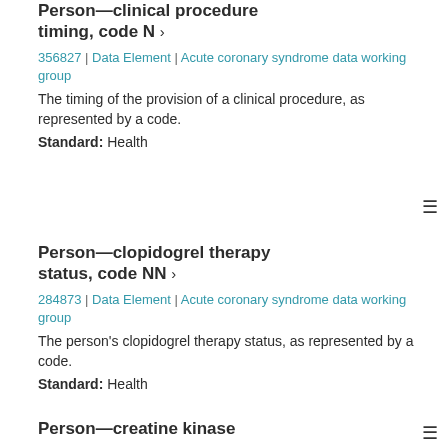Person—clinical procedure timing, code N ›
356827 | Data Element | Acute coronary syndrome data working group
The timing of the provision of a clinical procedure, as represented by a code.
Standard: Health
Person—clopidogrel therapy status, code NN ›
284873 | Data Element | Acute coronary syndrome data working group
The person's clopidogrel therapy status, as represented by a code.
Standard: Health
Person—creatine kinase…